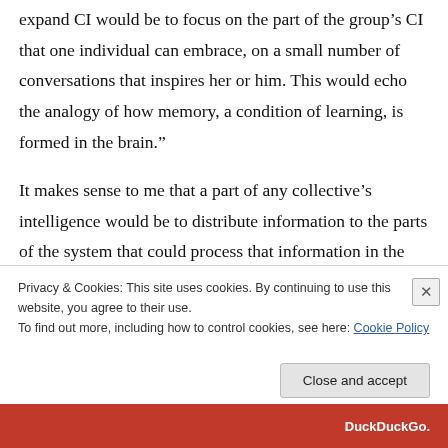expand CI would be to focus on the part of the group's CI that one individual can embrace, on a small number of conversations that inspires her or him. This would echo the analogy of how memory, a condition of learning, is formed in the brain."
It makes sense to me that a part of any collective's intelligence would be to distribute information to the parts of the system that could process that information in the way that was
Privacy & Cookies: This site uses cookies. By continuing to use this website, you agree to their use.
To find out more, including how to control cookies, see here: Cookie Policy
Close and accept